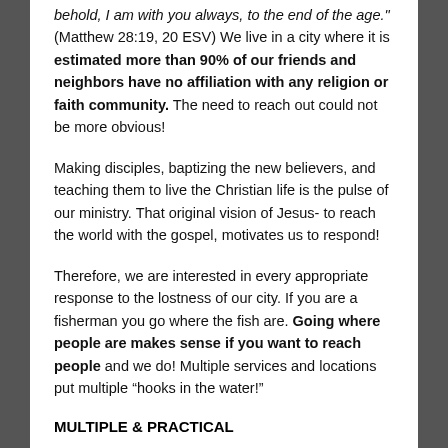behold, I am with you always, to the end of the age." (Matthew 28:19, 20 ESV) We live in a city where it is estimated more than 90% of our friends and neighbors have no affiliation with any religion or faith community. The need to reach out could not be more obvious!
Making disciples, baptizing the new believers, and teaching them to live the Christian life is the pulse of our ministry. That original vision of Jesus- to reach the world with the gospel, motivates us to respond!
Therefore, we are interested in every appropriate response to the lostness of our city. If you are a fisherman you go where the fish are. Going where people are makes sense if you want to reach people and we do! Multiple services and locations put multiple “hooks in the water!”
MULTIPLE & PRACTICAL
According to FORBES magazine (and several other